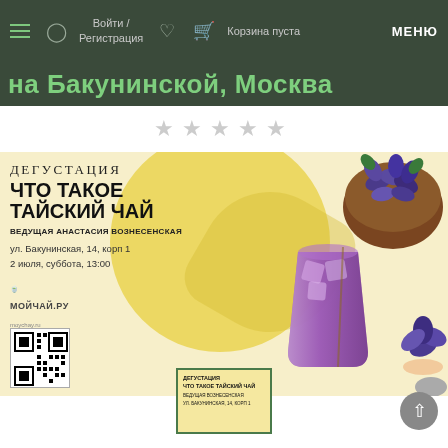Войти / Регистрация   Корзина пуста   МЕНЮ
на Бакунинской, Москва
★★★★★
[Figure (photo): Promotional poster for a Thai tea tasting event. Shows title 'ДЕГУСТАЦИЯ ЧТО ТАКОЕ ТАЙСКИЙ ЧАЙ', host 'ВЕДУЩАЯ АНАСТАСИЯ ВОЗНЕСЕНСКАЯ', address 'ул. Бакунинская, 14, корп 1', date '2 июля, суббота, 13:00', mоичай.ру logo, QR code, purple iced drink in a glass, and a wooden bowl with blue butterfly pea flowers on yellow background.]
[Figure (photo): Small thumbnail of the same promotional poster for the Thai tea tasting.]